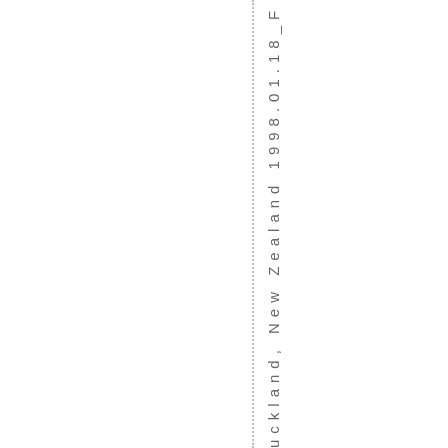uckland, New Zealand 1998.01.18_F